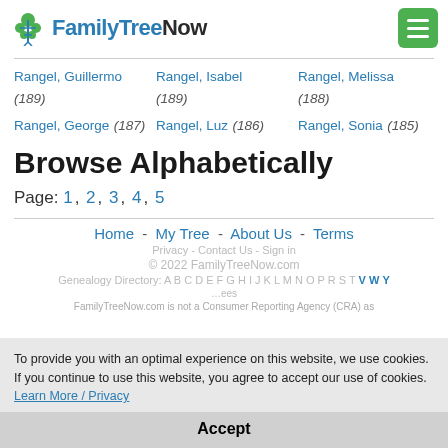FamilyTreeNow
Rangel, Guillermo (189)
Rangel, Isabel (189)
Rangel, Melissa (188)
Rangel, George (187)
Rangel, Luz (186)
Rangel, Sonia (185)
Browse Alphabetically
Page: 1 , 2 , 3 , 4 , 5
Home - My Tree - About Us - Terms
To provide you with an optimal experience on this website, we use cookies. If you continue to use this website, you agree to accept our use of cookies.  Learn More / Privacy
Accept